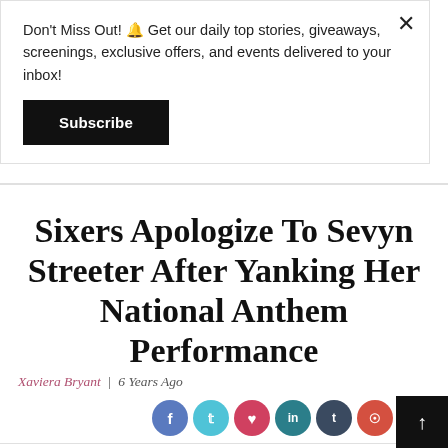Don't Miss Out! 🔔 Get our daily top stories, giveaways, screenings, exclusive offers, and events delivered to your inbox!
Subscribe
Sixers Apologize To Sevyn Streeter After Yanking Her National Anthem Performance
Xaviera Bryant | 6 Years Ago